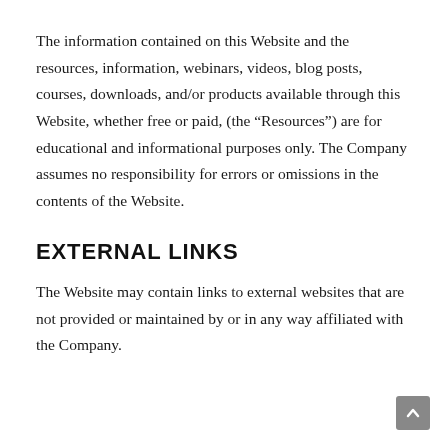The information contained on this Website and the resources, information, webinars, videos, blog posts, courses, downloads, and/or products available through this Website, whether free or paid, (the “Resources”) are for educational and informational purposes only. The Company assumes no responsibility for errors or omissions in the contents of the Website.
EXTERNAL LINKS
The Website may contain links to external websites that are not provided or maintained by or in any way affiliated with the Company.